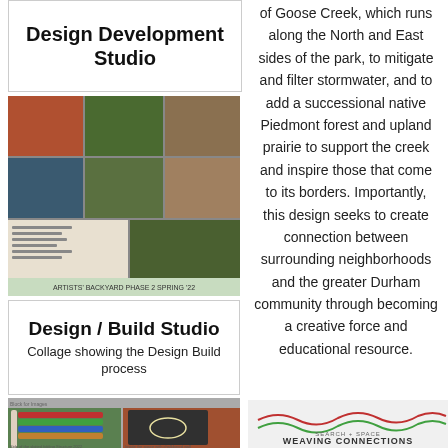Design Development Studio
[Figure (photo): Collage of outdoor garden and landscape design project photos showing various stages and activities]
Design / Build Studio
Collage showing the Design Build process
[Figure (photo): Two photos showing colorful slatted furniture/structures displayed near a brick wall outdoors]
of Goose Creek, which runs along the North and East sides of the park, to mitigate and filter stormwater, and to add a successional native Piedmont forest and upland prairie to support the creek and inspire those that come to its borders. Importantly, this design seeks to create connection between surrounding neighborhoods and the greater Durham community through becoming a creative force and educational resource.
[Figure (logo): Weaving Connections logo with wavy lines in green and red, text reading SEARCH + SPACE and WEAVING CONNECTIONS]